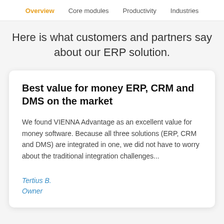Overview  Core modules  Productivity  Industries
Here is what customers and partners say about our ERP solution.
Best value for money ERP, CRM and DMS on the market
We found VIENNA Advantage as an excellent value for money software. Because all three solutions (ERP, CRM and DMS) are integrated in one, we did not have to worry about the traditional integration challenges...
Tertius B.
Owner